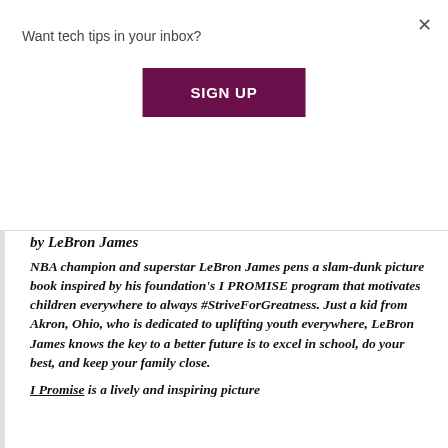Want tech tips in your inbox?
SIGN UP
by LeBron James
NBA champion and superstar LeBron James pens a slam-dunk picture book inspired by his foundation's I PROMISE program that motivates children everywhere to always #StriveForGreatness. Just a kid from Akron, Ohio, who is dedicated to uplifting youth everywhere, LeBron James knows the key to a better future is to excel in school, do your best, and keep your family close.
I Promise is a lively and inspiring picture